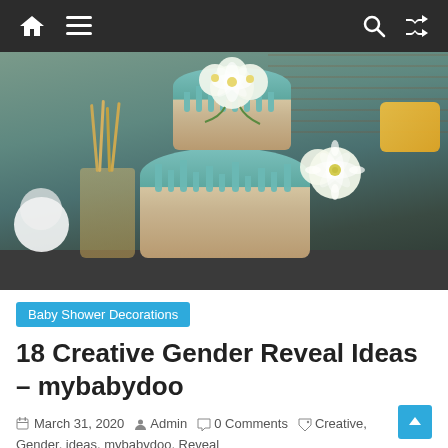Navigation bar with home, menu, search, and shuffle icons
[Figure (photo): A two-tier naked cake with teal/blue drip frosting and white chrysanthemum flowers on top and side, surrounded by breadsticks, plates, and yellow napkins on a dark table with a brick wall backdrop.]
Baby Shower Decorations
18 Creative Gender Reveal Ideas – mybabydoo
March 31, 2020   Admin   0 Comments   Creative, Gender, ideas, mybabydoo, Reveal